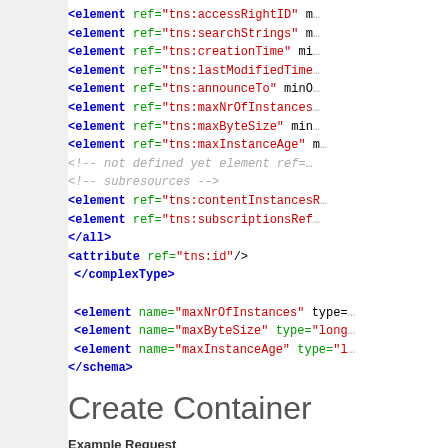<element ref="tns:accessRightID" m...
<element ref="tns:searchStrings" m...
<element ref="tns:creationTime" mi...
<element ref="tns:lastModifiedTime...
<element ref="tns:announceTo" minO...
<element ref="tns:maxNrOfInstances...
<element ref="tns:maxByteSize" min...
<element ref="tns:maxInstanceAge" ...
<!-- not defined yet element ref=...
<!-- subresources -->
<element ref="tns:contentInstancesR...
<element ref="tns:subscriptionsRef...
</all>
<attribute ref="tns:id"/>
</complexType>

<element name="maxNrOfInstances" type=...
<element name="maxByteSize" type="long...
<element name="maxInstanceAge" type="l...
</schema>
Create Container
Example Request
POST /scl-id/containers